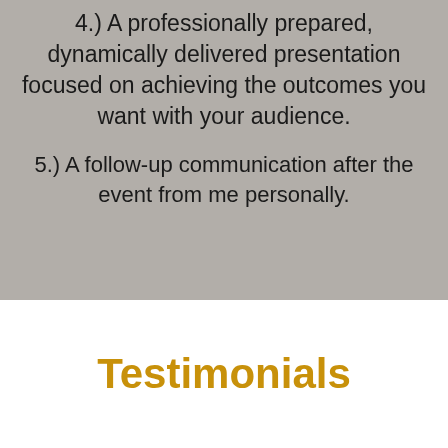4.) A professionally prepared, dynamically delivered presentation focused on achieving the outcomes you want with your audience.
5.) A follow-up communication after the event from me personally.
Testimonials